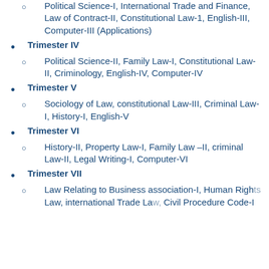Political Science-I, International Trade and Finance, Law of Contract-II, Constitutional Law-1, English-III, Computer-III (Applications)
Trimester IV
Political Science-II, Family Law-I, Constitutional Law-II, Criminology, English-IV, Computer-IV
Trimester V
Sociology of Law, constitutional Law-III, Criminal Law-I, History-I, English-V
Trimester VI
History-II, Property Law-I, Family Law –II, criminal Law-II, Legal Writing-I, Computer-VI
Trimester VII
Law Relating to Business association-I, Human Rights Law, international Trade Law, Civil Procedure Code-I